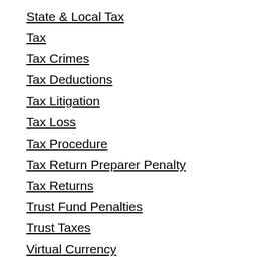State & Local Tax
Tax
Tax Crimes
Tax Deductions
Tax Litigation
Tax Loss
Tax Procedure
Tax Return Preparer Penalty
Tax Returns
Trust Fund Penalties
Trust Taxes
Virtual Currency